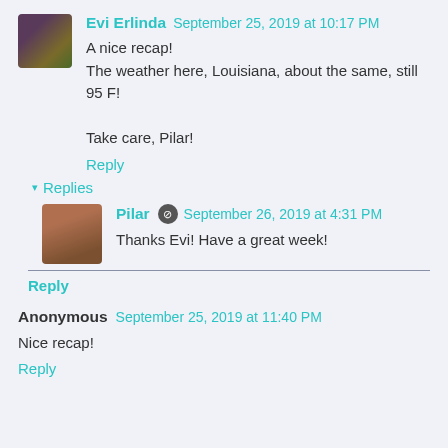Evi Erlinda  September 25, 2019 at 10:17 PM
A nice recap!
The weather here, Louisiana, about the same, still 95 F!

Take care, Pilar!
Reply
▾ Replies
Pilar  September 26, 2019 at 4:31 PM
Thanks Evi! Have a great week!
Reply
Anonymous  September 25, 2019 at 11:40 PM
Nice recap!
Reply